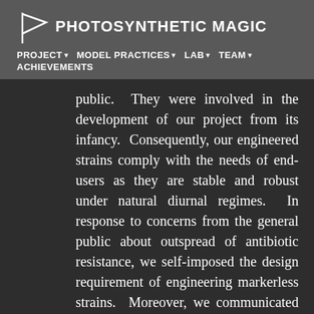PHOTOSYNTHETIC MAGIC
PROJECT ▾ MODEL PRACTICES ▾ LAB ▾ TEAM ▾ ACHIEVEMENTS
public. They were involved in the development of our project from its infancy. Consequently, our engineered strains comply with the needs of end-users as they are stable and robust under natural diurnal regimes. In response to concerns from the general public about outspread of antibiotic resistance, we self-imposed the design requirement of engineering markerless strains. Moreover, we communicated this concern (and our solution) to the Dutch Ministry in